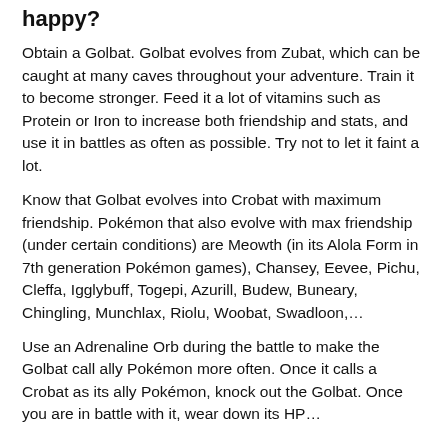happy?
Obtain a Golbat. Golbat evolves from Zubat, which can be caught at many caves throughout your adventure. Train it to become stronger. Feed it a lot of vitamins such as Protein or Iron to increase both friendship and stats, and use it in battles as often as possible. Try not to let it faint a lot.
Know that Golbat evolves into Crobat with maximum friendship. Pokémon that also evolve with max friendship (under certain conditions) are Meowth (in its Alola Form in 7th generation Pokémon games), Chansey, Eevee, Pichu, Cleffa, Igglybuff, Togepi, Azurill, Budew, Buneary, Chingling, Munchlax, Riolu, Woobat, Swadloon,…
Use an Adrenaline Orb during the battle to make the Golbat call ally Pokémon more often. Once it calls a Crobat as its ally Pokémon, knock out the Golbat. Once you are in battle with it, wear down its HP…